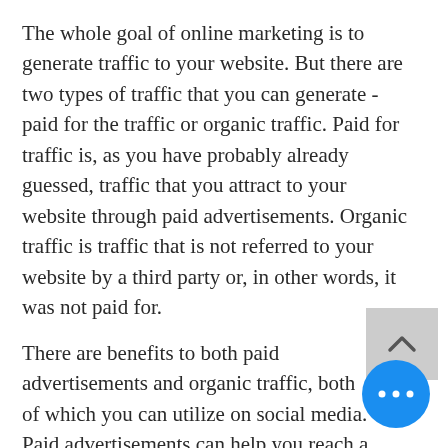The whole goal of online marketing is to generate traffic to your website. But there are two types of traffic that you can generate - paid for the traffic or organic traffic. Paid for traffic is, as you have probably already guessed, traffic that you attract to your website through paid advertisements. Organic traffic is traffic that is not referred to your website by a third party or, in other words, it was not paid for.
There are benefits to both paid advertisements and organic traffic, both of which you can utilize on social media. Paid advertisements can help you reach a larger audience, while organic traffic is more likely to lead to a